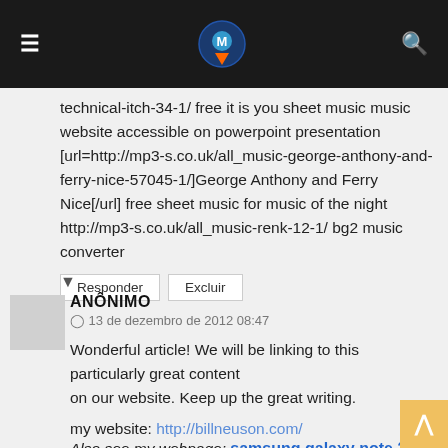≡  [logo]  🔍
technical-itch-34-1/ free it is you sheet music music website accessible on powerpoint presentation [url=http://mp3-s.co.uk/all_music-george-anthony-and-ferry-nice-57045-1/]George Anthony and Ferry Nice[/url] free sheet music for music of the night http://mp3-s.co.uk/all_music-renk-12-1/ bg2 music converter
Responder  Excluir
▼
ANÔNIMO
🕐 13 de dezembro de 2012 08:47
Wonderful article! We will be linking to this particularly great content on our website. Keep up the great writing.
my website: http://billneuson.com/
Also see my webpage: samsung galaxy note 2
Responder  Excluir